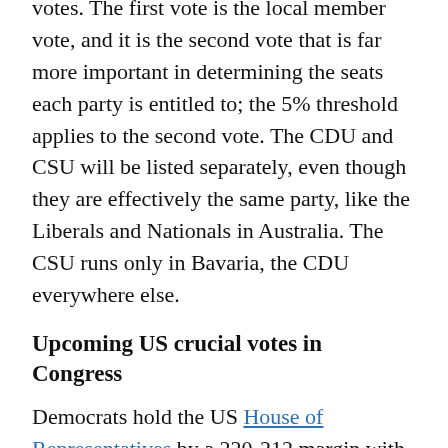votes. The first vote is the local member vote, and it is the second vote that is far more important in determining the seats each party is entitled to; the 5% threshold applies to the second vote. The CDU and CSU will be listed separately, even though they are effectively the same party, like the Liberals and Nationals in Australia. The CSU runs only in Bavaria, the CDU everywhere else.
Upcoming US crucial votes in Congress
Democrats hold the US House of Representatives by a 220-212 margin with three vacancies. In the Senate, it's a 50-50 tie with Vice President Kamala Harris having the casting vote. However, to pass the Senate